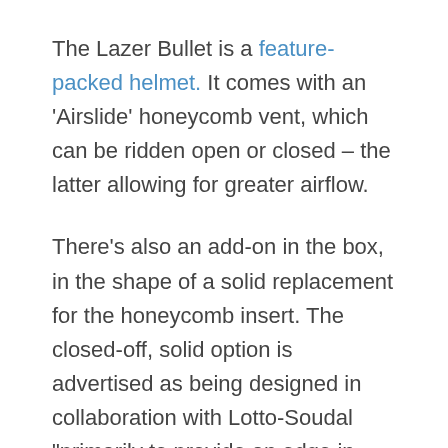The Lazer Bullet is a feature-packed helmet. It comes with an 'Airslide' honeycomb vent, which can be ridden open or closed – the latter allowing for greater airflow.
There's also an add-on in the box, in the shape of a solid replacement for the honeycomb insert. The closed-off, solid option is advertised as being designed in collaboration with Lotto-Soudal "primarily to provide an edge in sprint finishes".